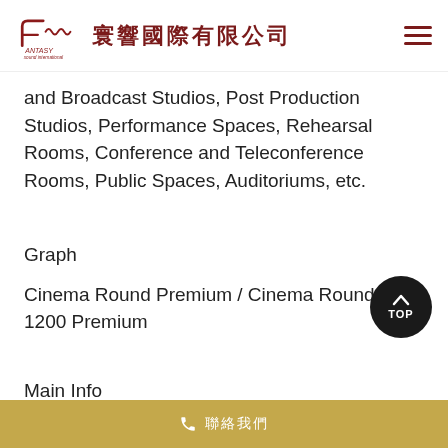FANTASY 寰響國際有限公司
and Broadcast Studios, Post Production Studios, Performance Spaces, Rehearsal Rooms, Conference and Teleconference Rooms, Public Spaces, Auditoriums, etc.
Graph
Cinema Round Premium / Cinema Round Pro 1200 Premium
Main Info
Ref: B00549
EAN13: 5600217588718
📞 聯絡我們